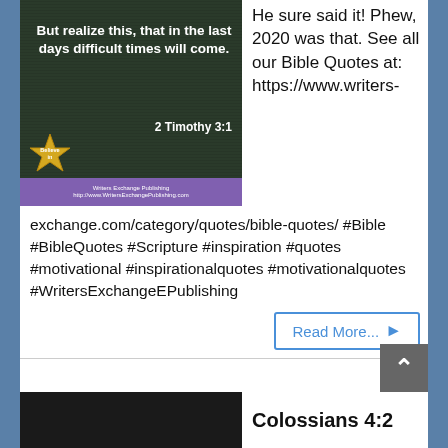[Figure (illustration): Dark background image with white bold text: 'But realize this, that in the last days difficult times will come.' and '2 Timothy 3:1', with a gold star badge and a purple footer bar reading 'Writers Exchange Publishing']
He sure said it! Phew, 2020 was that. See all our Bible Quotes at: https://www.writers-
exchange.com/category/quotes/bible-quotes/ #Bible #BibleQuotes #Scripture #inspiration #quotes #motivational #inspirationalquotes #motivationalquotes #WritersExchangeEPublishing
Read More... ▶
[Figure (other): Back to top button - dark gray square with upward arrow]
[Figure (photo): Dark/black image strip at the bottom left]
Colossians 4:2